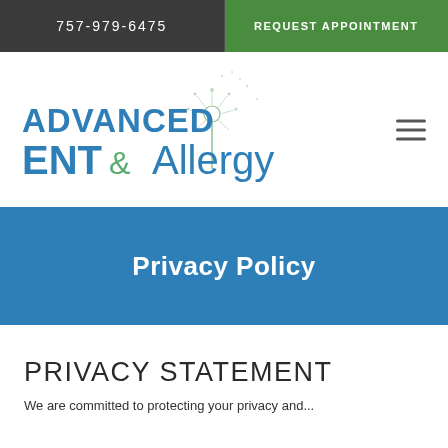757-979-6475 | REQUEST APPOINTMENT
[Figure (logo): Advanced ENT & Allergy logo with dandelion graphic]
Privacy Policy
PRIVACY STATEMENT
We are committed to protecting your privacy and...